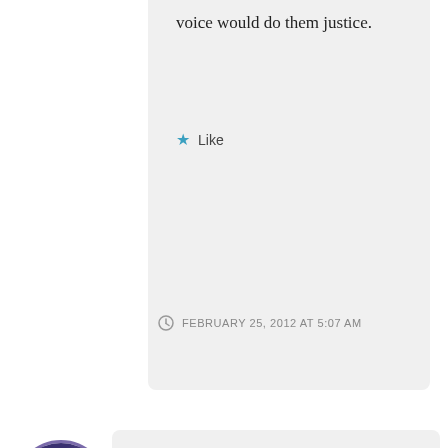voice would do them justice.
Like
FEBRUARY 25, 2012 AT 5:07 AM
[Figure (photo): Circular avatar photo of a person with light hair wearing dark clothing, against a dark blue/purple background]
LDW
Thank you, my friend…I had fun even writing the article! Every time I get into this train of thought (on those walks